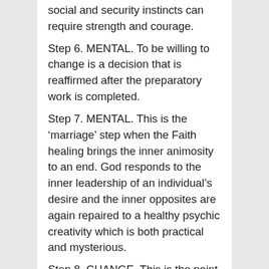social and security instincts can require strength and courage.
Step 6. MENTAL. To be willing to change is a decision that is reaffirmed after the preparatory work is completed.
Step 7. MENTAL. This is the ‘marriage’ step when the Faith healing brings the inner animosity to an end. God responds to the inner leadership of an individual’s desire and the inner opposites are again repaired to a healthy psychic creativity which is both practical and mysterious.
Step 8. CHANGE. This is the point at which the real beginning is made and the way is opened for the nurturing of inner change to become a realised way of life with practise and being led by intuition and logic working in a harmony of inspiration.